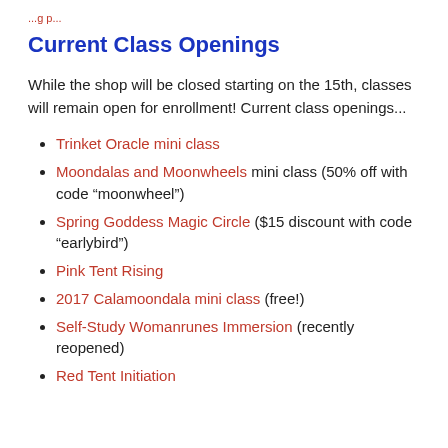...g p...
Current Class Openings
While the shop will be closed starting on the 15th, classes will remain open for enrollment! Current class openings...
Trinket Oracle mini class
Moondalas and Moonwheels mini class (50% off with code “moonwheel”)
Spring Goddess Magic Circle ($15 discount with code “earlybird”)
Pink Tent Rising
2017 Calamoondala mini class (free!)
Self-Study Womanrunes Immersion (recently reopened)
Red Tent Initiation